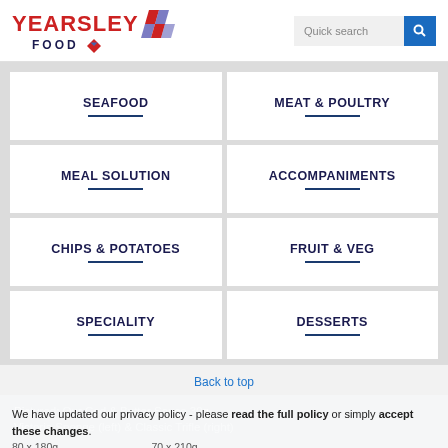[Figure (logo): Yearsley Food logo with red text and diamond icon]
Quick search
SEAFOOD
MEAT & POULTRY
MEAL SOLUTION
ACCOMPANIMENTS
CHIPS & POTATOES
FRUIT & VEG
SPECIALITY
DESSERTS
Back to top
We have updated our privacy policy - please read the full policy or simply accept these changes.
80 x 180g
70 x 210g